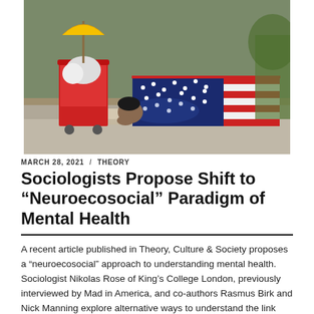[Figure (photo): A person lying on a bench covered with an American flag blanket, next to a red shopping cart filled with belongings, depicting homelessness.]
MARCH 28, 2021 / THEORY
Sociologists Propose Shift to “Neuroecosocial” Paradigm of Mental Health
A recent article published in Theory, Culture & Society proposes a “neuroecosocial” approach to understanding mental health. Sociologist Nikolas Rose of King’s College London, previously interviewed by Mad in America, and co-authors Rasmus Birk and Nick Manning explore alternative ways to understand the link between personal “lived experience” and things like “social